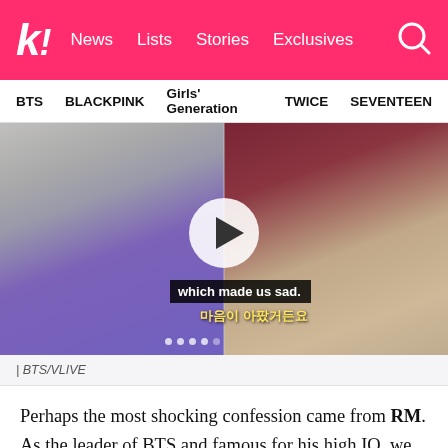k! News Lists Stories Exclusives
BTS  BLACKPINK  Girls' Generation  TWICE  SEVENTEEN
[Figure (screenshot): Video thumbnail showing two BTS members side by side. Left member wearing purple hoodie. Right member wearing black hat. Center has a play button circle. Subtitle reads 'which made us sad.' in English and '마음이 아팠거든요' in Korean yellow text.]
| BTS/VLIVE
Perhaps the most shocking confession came from RM. As the leader of BTS and famous for his high IQ, we consider him as one of the most